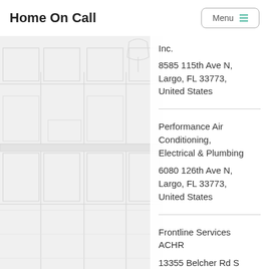Home On Call
Inc.
8585 115th Ave N, Largo, FL 33773, United States
Performance Air Conditioning, Electrical & Plumbing
6080 126th Ave N, Largo, FL 33773, United States
Frontline Services ACHR
13355 Belcher Rd S Ste 205, Largo, FL